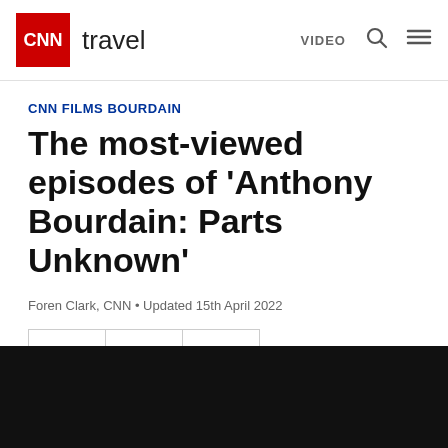CNN travel | VIDEO
CNN FILMS BOURDAIN
The most-viewed episodes of 'Anthony Bourdain: Parts Unknown'
Foren Clark, CNN • Updated 15th April 2022
[Figure (other): Social share buttons: Facebook, Twitter, Email]
[Figure (photo): Black image/video area at bottom of page]